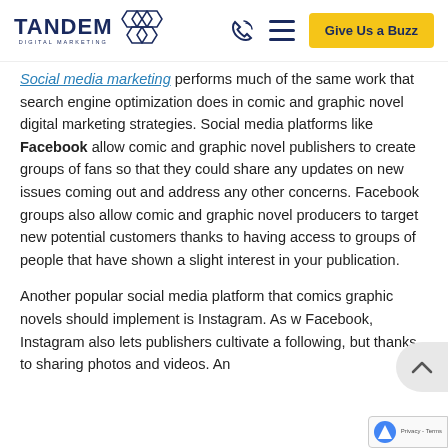TANDEM DIGITAL MARKETING | Give Us a Buzz
Social media marketing performs much of the same work that search engine optimization does in comic and graphic novel digital marketing strategies. Social media platforms like Facebook allow comic and graphic novel publishers to create groups of fans so that they could share any updates on new issues coming out and address any other concerns. Facebook groups also allow comic and graphic novel producers to target new potential customers thanks to having access to groups of people that have shown a slight interest in your publication.
Another popular social media platform that comics graphic novels should implement is Instagram. As w Facebook, Instagram also lets publishers cultivate a following, but thanks to sharing photos and videos. An